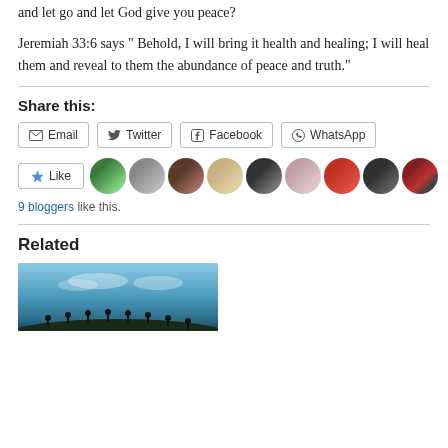and let go and let God give you peace?
Jeremiah 33:6 says “ Behold, I will bring it health and healing; I will heal them and reveal to them the abundance of peace and truth.”
Share this:
Email
Twitter
Facebook
WhatsApp
9 bloggers like this.
Related
[Figure (photo): Landscape photo showing silhouettes of people on a hilltop against a blue sky with clouds]